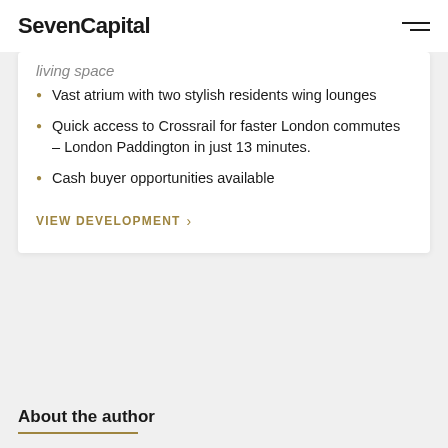SevenCapital
living space
Vast atrium with two stylish residents wing lounges
Quick access to Crossrail for faster London commutes – London Paddington in just 13 minutes.
Cash buyer opportunities available
VIEW DEVELOPMENT >
About the author